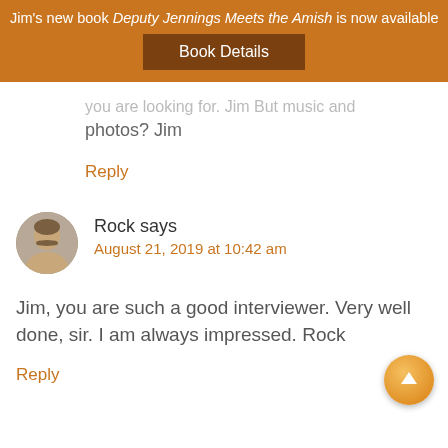Jim's new book Deputy Jennings Meets the Amish is now available!
Book Details
you are looking for. Jim But music and photos? Jim
Reply
Rock says
August 21, 2019 at 10:42 am
Jim, you are such a good interviewer. Very well done, sir. I am always impressed. Rock
Reply